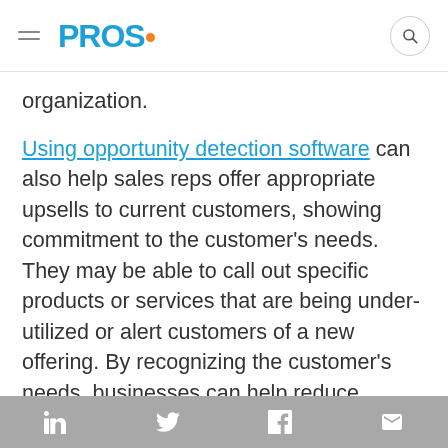PROS. [logo with hamburger menu and search button]
organization.
Using opportunity detection software can also help sales reps offer appropriate upsells to current customers, showing commitment to the customer's needs. They may be able to call out specific products or services that are being under-utilized or alert customers of a new offering. By recognizing the customer's needs, businesses can help reduce customer churn with prompt, proactive, and personalized service that truly
LinkedIn  Twitter  Facebook  Email